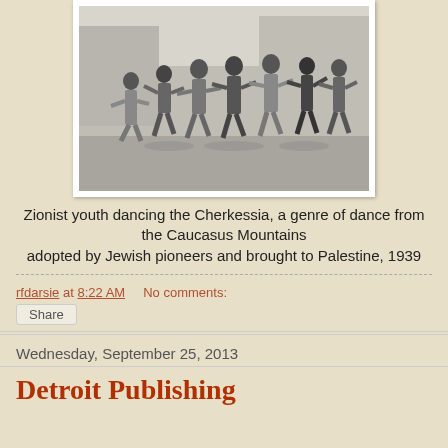[Figure (photo): Black and white photograph of Zionist youth dancing the Cherkessia outdoors, 1939. A group of men and women are shown dancing together on an open field with structures in the background.]
Zionist youth dancing the Cherkessia, a genre of dance from the Caucasus Mountains adopted by Jewish pioneers and brought to Palestine, 1939
rfdarsie at 8:22 AM    No comments:
Share
Wednesday, September 25, 2013
Detroit Publishing